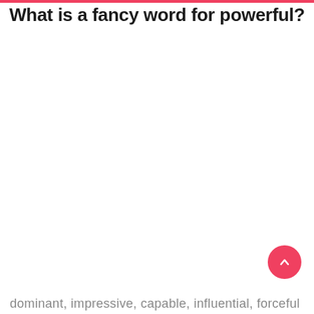What is a fancy word for powerful?
dominant, impressive, capable, influential, forceful